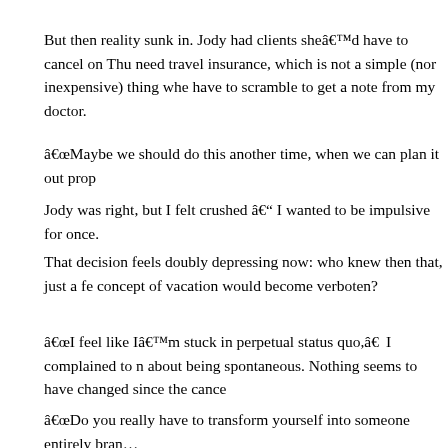But then reality sunk in. Jody had clients sheâd have to cancel on Thu… need travel insurance, which is not a simple (nor inexpensive) thing whe… have to scramble to get a note from my doctor.
“Maybe we should do this another time, when we can plan it out prop…
Jody was right, but I felt crushed – I wanted to be impulsive for once. …
That decision feels doubly depressing now: who knew then that, just a fe… concept of vacation would become verboten?
“I feel like I’m stuck in perpetual status quo,” I complained to m… about being spontaneous. Nothing seems to have changed since the cance…
“Do you really have to transform yourself into someone entirely bran… “Maybe small steps are enough. What could you do this weekend that… spontaneous?”
I was quiet for a moment. “We could go out to a nice brunch, in Israel… Greece – I suggested. That would at least be different: Fridays for mo…